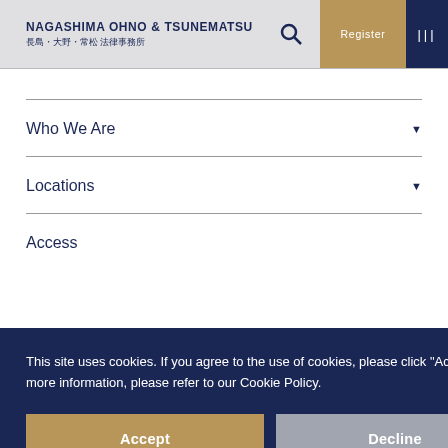Nagashima Ohno & Tsunematsu 長島・大野・常松 法律事務所
Who We Are
Locations
Access
This site uses cookies. If you agree to the use of cookies, please click "Accept." For more information, please refer to our Cookie Policy.
Accept
Decline
Cookie Policy